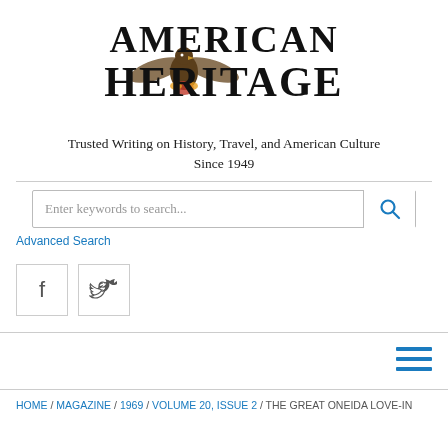[Figure (logo): American Heritage magazine logo with eagle emblem, large serif text reading AMERICAN HERITAGE]
Trusted Writing on History, Travel, and American Culture Since 1949
Enter keywords to search...
Advanced Search
[Figure (illustration): Facebook icon in a bordered square box]
[Figure (illustration): Twitter bird icon in a bordered square box]
[Figure (illustration): Hamburger menu icon (three horizontal lines) in blue, aligned right]
HOME / MAGAZINE / 1969 / VOLUME 20, ISSUE 2 / THE GREAT ONEIDA LOVE-IN